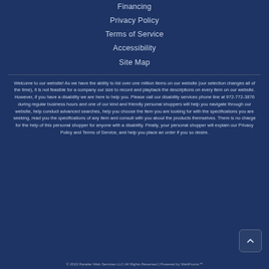Financing
Privacy Policy
Terms of Service
Accessibility
Site Map
Welcome to our website! As we have the ability to list over one million items on our website (our selection changes all of the time), it is not feasible for a company our size to record and playback the descriptions on every item on our website. However, if you have a disability we are here to help you. Please call our disability services phone line at 972-772-3876 during regular business hours and one of our kind and friendly personal shoppers will help you navigate through our website, help conduct advanced searches, help you choose the item you are looking for with the specifications you are seeking, read you the specifications of any item and consult with you about the products themselves. There is no charge for the help of this personal shopper for anyone with a disability. Finally, your personal shopper will explain our Privacy Policy and Terms of Service, and help you place an order if you so desire.
© 2022 Retailer Web Services LLC All Rights Reserved | Powered by WebFronts™